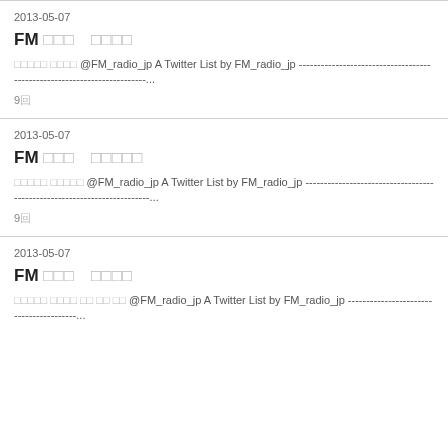2013-05-07
FM □□□　□□□□
□□□□□ □□□□ @FM_radio_jp A Twitter List by FM_radio_jp ------------------------------------------------------------------...
9回
2013-05-07
FM □□□　□□□□□
□□□□□ □□□□□ @FM_radio_jp A Twitter List by FM_radio_jp ------------------------------------------------------------------...
9回
2013-05-07
FM □□□　□□□□
□□□□□ □□□□ □□ □□ □□ @FM_radio_jp A Twitter List by FM_radio_jp ----------------------------------------...